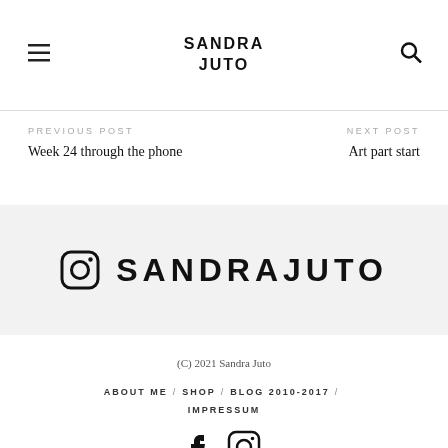SANDRA JUTO
PREVIOUS POST
Week 24 through the phone
NEXT POST
Art part start
[Figure (logo): Instagram icon followed by text SANDRAJUTO on a light grey background]
(C) 2021 Sandra Juto
ABOUT ME / SHOP / BLOG 2010-2017 / IMPRESSUM